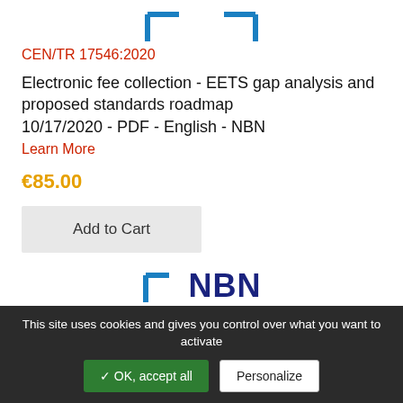[Figure (logo): Blue bracket corner marks at top center of page]
CEN/TR 17546:2020
Electronic fee collection - EETS gap analysis and proposed standards roadmap 10/17/2020 - PDF - English - NBN
Learn More
€85.00
Add to Cart
[Figure (logo): NBN logo with blue bracket mark and bold NBN text]
This site uses cookies and gives you control over what you want to activate
✓ OK, accept all
Personalize